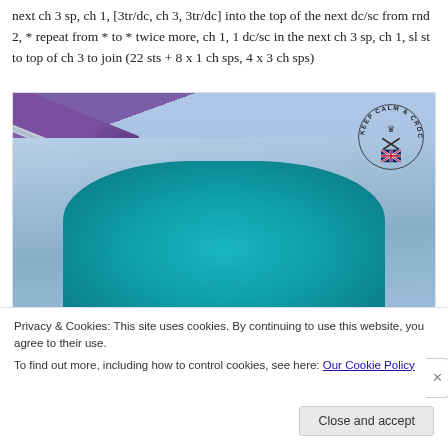next ch 3 sp, ch 1, [3tr/dc, ch 3, 3tr/dc] into the top of the next dc/sc from rnd 2, * repeat from * to * twice more, ch 1, 1 dc/sc in the next ch 3 sp, ch 1, sl st to top of ch 3 to join (22 sts + 8 x 1 ch sps, 4 x 3 ch sps)
[Figure (photo): Close-up photo of a crochet work in progress showing a granny square with teal center and light blue outer rounds, with a purple crochet hook and metal shaft visible at the top. A 'Keep Calm & Crochet On UK' watermark logo is in the top right corner.]
Privacy & Cookies: This site uses cookies. By continuing to use this website, you agree to their use.
To find out more, including how to control cookies, see here: Our Cookie Policy
Close and accept